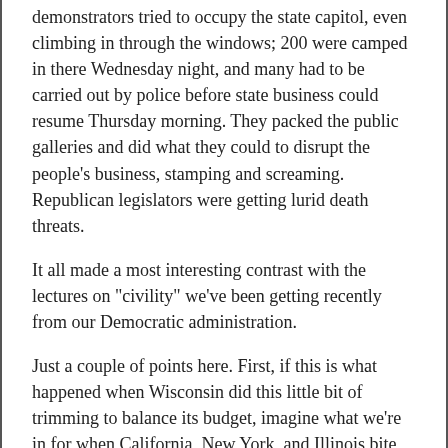demonstrators tried to occupy the state capitol, even climbing in through the windows; 200 were camped in there Wednesday night, and many had to be carried out by police before state business could resume Thursday morning. They packed the public galleries and did what they could to disrupt the people's business, stamping and screaming. Republican legislators were getting lurid death threats.
It all made a most interesting contrast with the lectures on "civility" we've been getting recently from our Democratic administration.
Just a couple of points here. First, if this is what happened when Wisconsin did this little bit of trimming to balance its budget, imagine what we're in for when California, New York, and Illinois bite their much bigger bullets — as